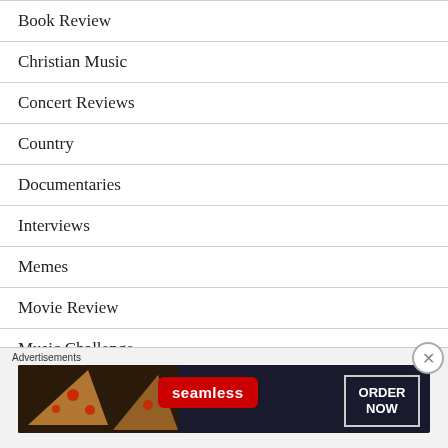Book Review
Christian Music
Concert Reviews
Country
Documentaries
Interviews
Memes
Movie Review
Music Challenge
My First Time
[Figure (other): Seamless food ordering advertisement banner showing pizza slices on the left, Seamless red logo in the center, and ORDER NOW button on the right with dark background]